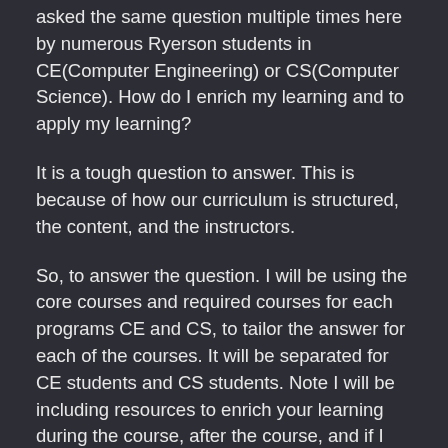asked the same question multiple times here by numerous Ryerson students in CE(Computer Engineering) or CS(Computer Science). How do I enrich my learning and to apply my learning?
It is a tough question to answer. This is because of how our curriculum is structured, the content, and the instructors.
So, to answer the question. I will be using the core courses and required courses for each programs CE and CS, to tailor the answer for each of the courses. It will be separated for CE students and CS students. Note I will be including resources to enrich your learning during the course, after the course, and if I have taken the course a small review of the course itself, instructor and content.
Note: Another blog post will be done on a later date for the CE curriculum